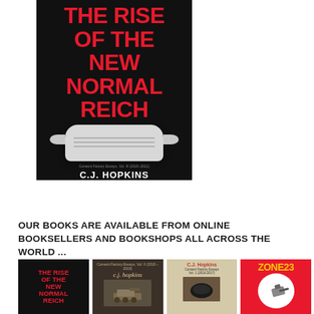[Figure (illustration): Book cover of 'The Rise of the New Normal Reich' by C.J. Hopkins. Black background with bold red text title at top, a surgical/medical mask in the center, subtitle 'Consent Factory Essays, Vol. III (2020-2021)' in small text, and author name 'C.J. HOPKINS' in large white bold text at the bottom.]
OUR BOOKS ARE AVAILABLE FROM ONLINE BOOKSELLERS AND BOOKSHOPS ALL ACROSS THE WORLD ...
[Figure (illustration): Four small book cover thumbnails: 1) The Rise of the New Normal Reich (black cover, red title), 2) c.j. hopkins book with dark cover showing a tank, 3) A beige/parchment colored C.J. Hopkins essay collection, 4) Zone 23 with red cover and yellow text]